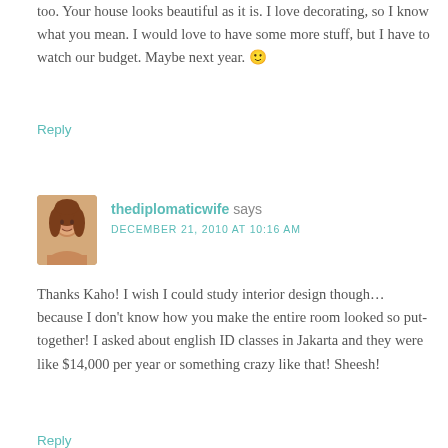too. Your house looks beautiful as it is. I love decorating, so I know what you mean. I would love to have some more stuff, but I have to watch our budget. Maybe next year. 🙂
Reply
thediplomaticwife says DECEMBER 21, 2010 AT 10:16 AM
Thanks Kaho! I wish I could study interior design though… because I don't know how you make the entire room looked so put-together! I asked about english ID classes in Jakarta and they were like $14,000 per year or something crazy like that! Sheesh!
Reply